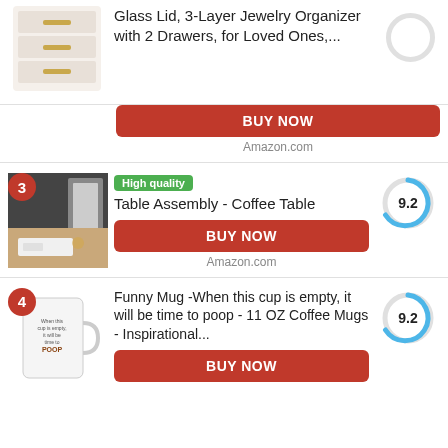[Figure (screenshot): Product listing row 1 (partial): Jewelry Organizer with glass lid image cropped at top, no rank visible, score circle partially visible]
Glass Lid, 3-Layer Jewelry Organizer with 2 Drawers, for Loved Ones,...
BUY NOW
Amazon.com
[Figure (screenshot): Product listing row 2: rank badge 3, room interior image, High quality badge, score 9.2]
High quality
Table Assembly - Coffee Table
BUY NOW
Amazon.com
[Figure (screenshot): Product listing row 3: rank badge 4, funny mug image, score 9.2]
Funny Mug -When this cup is empty, it will be time to poop - 11 OZ Coffee Mugs - Inspirational...
BUY NOW